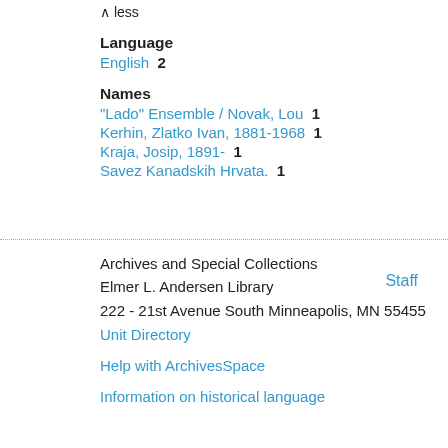∧ less
Language
English  2
Names
"Lado" Ensemble / Novak, Lou  1
Kerhin, Zlatko Ivan, 1881-1968  1
Kraja, Josip, 1891-  1
Savez Kanadskih Hrvata.  1
Staff
Archives and Special Collections
Elmer L. Andersen Library
222 - 21st Avenue South Minneapolis, MN 55455
Unit Directory
Help with ArchivesSpace
Information on historical language